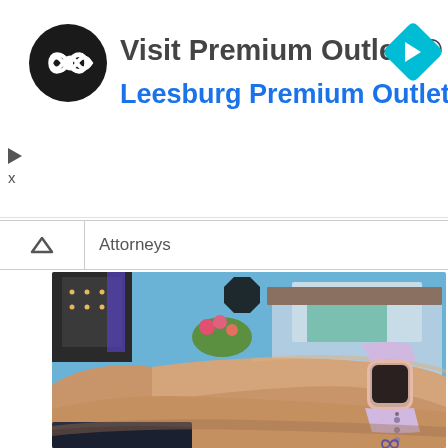[Figure (logo): Visit Premium Outlets ad banner with circular logo containing infinity-like symbol, blue navigation diamond icon, and text 'Visit Premium Outlets® / Leesburg Premium Outlets']
Attorneys
[Figure (photo): Close-up photo of a person's wrist wearing an Apple Watch with a light purple/lavender silicone band, resting on a car window with a sunny outdoor shopping center in the background]